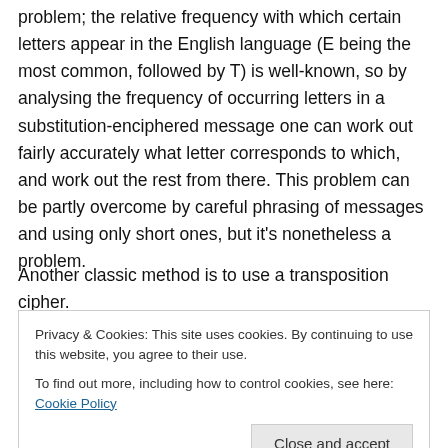These substitution ciphers suffered from a common problem; the relative frequency with which certain letters appear in the English language (E being the most common, followed by T) is well-known, so by analysing the frequency of occurring letters in a substitution-enciphered message one can work out fairly accurately what letter corresponds to which, and work out the rest from there. This problem can be partly overcome by careful phrasing of messages and using only short ones, but it's nonetheless a problem.
Another classic method is to use a transposition cipher.
Privacy & Cookies: This site uses cookies. By continuing to use this website, you agree to their use. To find out more, including how to control cookies, see here: Cookie Policy
but reading it off in rows. The recipient can then reverse